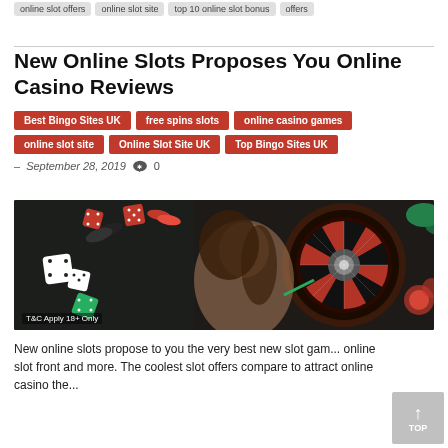online slot offers | online slot site | top 10 online slot bonus offers
New Online Slots Proposes You Online Casino Reviews
Best Bingo Sites UK
free spins slots
online casino games
online slot site
Online Slot Site UK
Top Bingo Sites UK
- September 28, 2019  0
[Figure (photo): Casino promotional image showing a smiling woman with long wavy hair, red and white dice, poker chips, and a roulette wheel. Text overlay: T&C Apply 18+ Only]
New online slots propose to you the very best new slot games on the slot front and more. The coolest slot offers compare to attract online casino...